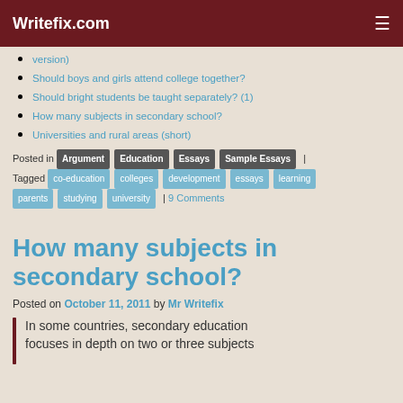Writefix.com
version)
Should boys and girls attend college together?
Should bright students be taught separately? (1)
How many subjects in secondary school?
Universities and rural areas (short)
Posted in Argument | Education | Essays | Sample Essays | Tagged co-education | colleges | development | essays | learning | parents | studying | university | 9 Comments
How many subjects in secondary school?
Posted on October 11, 2011 by Mr Writefix
In some countries, secondary education focuses in depth on two or three subjects